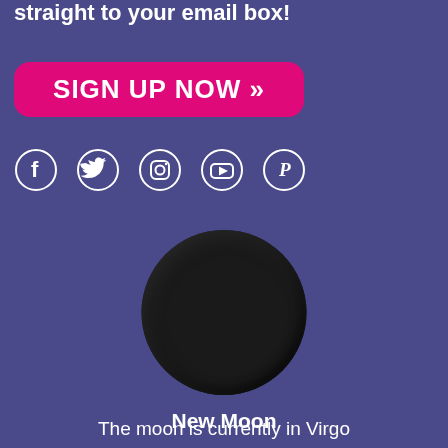Receive your horoscope every day, straight to your email box!
[Figure (other): Pink rounded button with text SIGN UP NOW and double right arrow chevrons]
[Figure (other): Row of social media icons: Facebook, Twitter, Instagram, YouTube, Pinterest — all white outlines on purple background]
[Figure (other): New Moon phase image — dark nearly black circle representing new moon phase]
New Moon
The moon is currently in Virgo